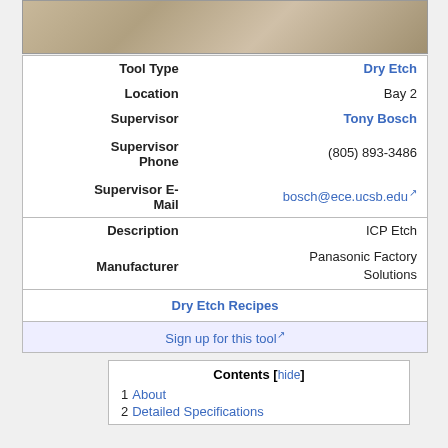[Figure (photo): Photo of a dry etch tool/equipment in a lab setting]
| Tool Type | Dry Etch |
| Location | Bay 2 |
| Supervisor | Tony Bosch |
| Supervisor Phone | (805) 893-3486 |
| Supervisor E-Mail | bosch@ece.ucsb.edu |
| Description | ICP Etch |
| Manufacturer | Panasonic Factory Solutions |
|  | Dry Etch Recipes |
|  | Sign up for this tool |
Contents [hide]
1  About
2  Detailed Specifications